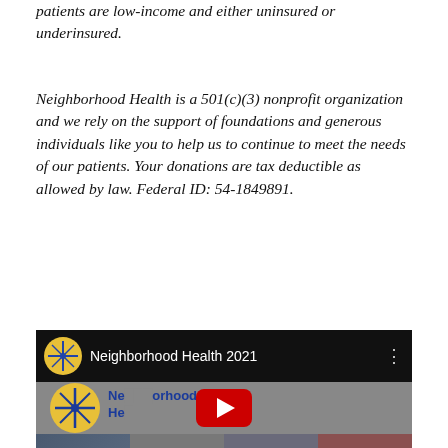patients are low-income and either uninsured or underinsured.
Neighborhood Health is a 501(c)(3) nonprofit organization and we rely on the support of foundations and generous individuals like you to help us to continue to meet the needs of our patients. Your donations are tax deductible as allowed by law. Federal ID: 54-1849891.
[Figure (screenshot): YouTube embed showing Neighborhood Health 2021 video with logo, play button overlay and a strip of event photos at the bottom]